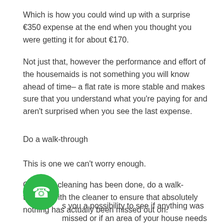Which is how you could wind up with a surprise €350 expense at the end when you thought you were getting it for about €170.
Not just that, however the performance and effort of the housemaids is not something you will know ahead of time– a flat rate is more stable and makes sure that you understand what you're paying for and aren't surprised when you see the last expense.
Do a walk-through
This is one we can't worry enough.
Once the cleaning has been done, do a walk-through with the cleaner to ensure that absolutely nothing has actually been missed out on.
s you a possibility to see if anything was missed or if an area of your house needs a bit more attention to be done a bit